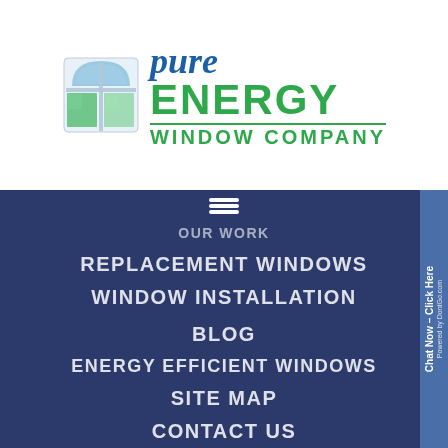[Figure (logo): Pure Energy Window Company logo with window icon on left and company name on right. 'pure' in blue italic serif, 'ENERGY' in bold green, green horizontal line, 'WINDOW COMPANY' in bold green capitals with letter spacing.]
OUR WORK
REPLACEMENT WINDOWS
WINDOW INSTALLATION
BLOG
ENERGY EFFICIENT WINDOWS
SITE MAP
CONTACT US
[Figure (logo): Partial Pure Energy logo at bottom of page showing window icon and 'pure' text in light blue italic on dark navy background.]